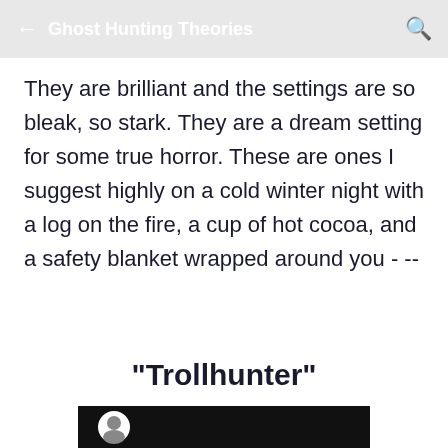← Ghost Hunting Theories 🔍
They are brilliant and the settings are so bleak, so stark. They are a dream setting for some true horror. These are ones I suggest highly on a cold winter night with a log on the fire, a cup of hot cocoa, and a safety blanket wrapped around you - --
"Trollhunter"
[Figure (screenshot): Bottom portion of a video thumbnail with dark/black background and a circular avatar icon visible]